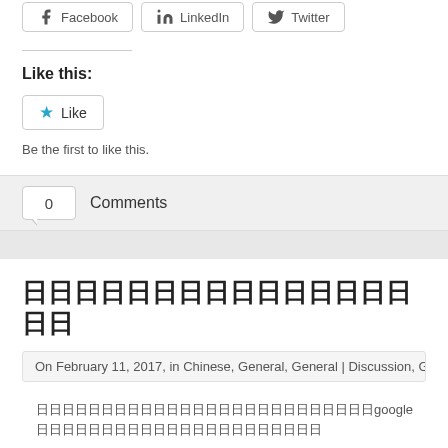[Figure (other): Social share buttons: Facebook, LinkedIn, Twitter]
Like this:
[Figure (other): Like button with star icon]
Be the first to like this.
0 Comments
日日日日日日日日日日日日日日日日日
On February 11, 2017, in Chinese, General, General | Discussion, General | Ideas, by Ko
日日日日日日日日日日日日日日日日日日日日日日日日日日google日日日日日日日日日日日日日日日日日日日日日日
日日日日日日日日日日日日日日日日日日日日日日日日日日日日
日日日日日日日日日日日日日日日日日日日日日日日日日日日日日日日日日日日日日日日日日日日日日日日日日日日日日日日